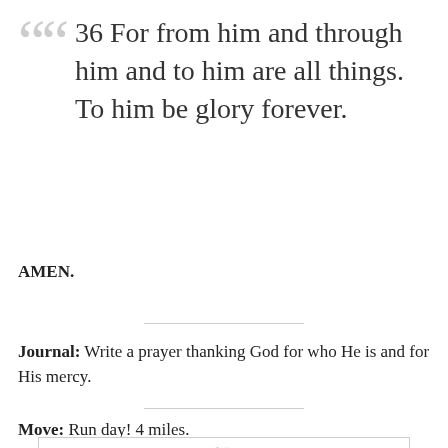36 For from him and through him and to him are all things. To him be glory forever.
AMEN.
Journal: Write a prayer thanking God for who He is and for His mercy.
Move: Run day! 4 miles.
[Figure (illustration): Topsy Turkey 10k race logo with a turkey illustration, decorative lines on either side, and text reading 'Topsy Turkey 10k' in bold italic font with 'Thanksgiving Day 2020' below in smaller text.]